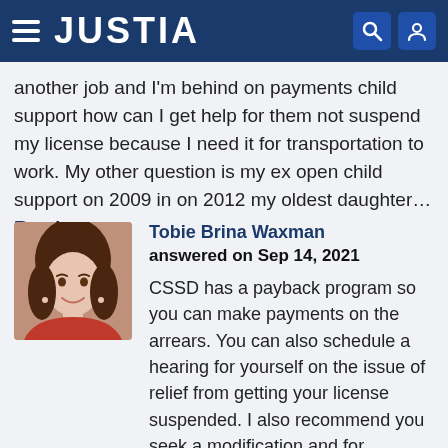JUSTIA
another job and I'm behind on payments child support how can I get help for them not suspend my license because I need it for transportation to work. My other question is my ex open child support on 2009 in on 2012 my oldest daughter… Read more »
[Figure (photo): Headshot photo of Tobie Brina Waxman, a woman with brown hair wearing a red top]
Tobie Brina Waxman
answered on Sep 14, 2021

CSSD has a payback program so you can make payments on the arrears. You can also schedule a hearing for yourself on the issue of relief from getting your license suspended. I also recommend you seek a modification and for forgiveness of the debt incurred during the period your 12-year-old was… Read more »